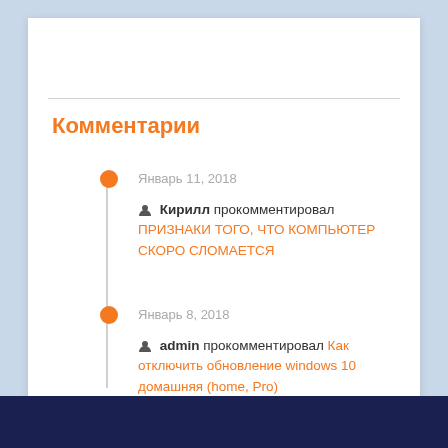Комментарии
Январь 11, 2018 — Кирилл прокомментировал ПРИЗНАКИ ТОГО, ЧТО КОМПЬЮТЕР СКОРО СЛОМАЕТСЯ
Январь 8, 2018 — admin прокомментировал Как отключить обновление windows 10 домашняя (home, Pro)